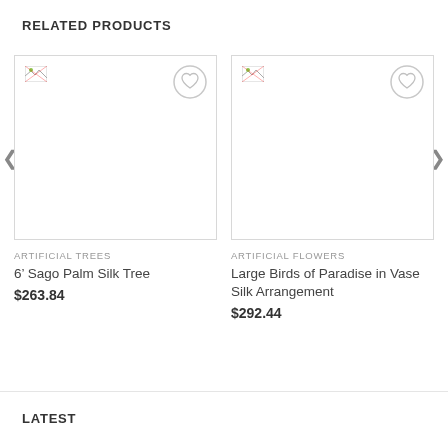RELATED PRODUCTS
[Figure (photo): Product image placeholder for 6' Sago Palm Silk Tree — broken image icon with wishlist heart button]
ARTIFICIAL TREES
6’ Sago Palm Silk Tree
$263.84
[Figure (photo): Product image placeholder for Large Birds of Paradise in Vase Silk Arrangement — broken image icon with wishlist heart button]
ARTIFICIAL FLOWERS
Large Birds of Paradise in Vase Silk Arrangement
$292.44
LATEST